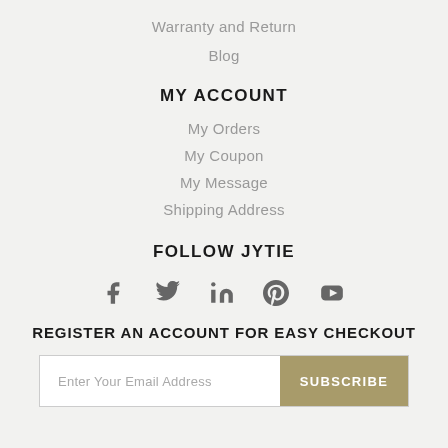Warranty and Return
Blog
MY ACCOUNT
My Orders
My Coupon
My Message
Shipping Address
FOLLOW JYTIE
[Figure (infographic): Social media icons: Facebook, Twitter, LinkedIn, Pinterest, YouTube]
REGISTER AN ACCOUNT FOR EASY CHECKOUT
Enter Your Email Address  SUBSCRIBE